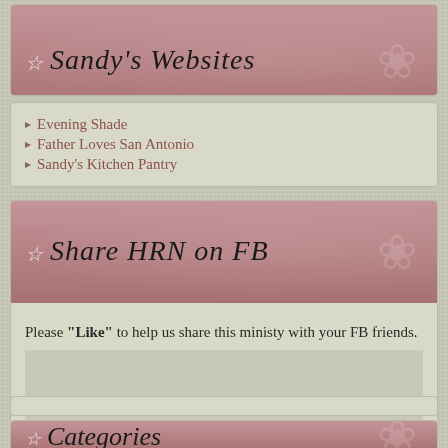Sandy's Websites
Evening Shade
Father Loves San Antonio
Sandy's Kitchen Pantry
Share HRN on FB
Please "Like" to help us share this ministy with your FB friends.
[Figure (other): Facebook like widget placeholder area]
Also, to visit our Facebook page, just click on the picture or the link below.
Categories